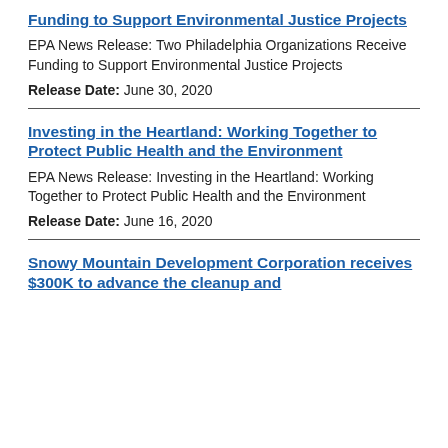Funding to Support Environmental Justice Projects
EPA News Release: Two Philadelphia Organizations Receive Funding to Support Environmental Justice Projects
Release Date: June 30, 2020
Investing in the Heartland: Working Together to Protect Public Health and the Environment
EPA News Release: Investing in the Heartland: Working Together to Protect Public Health and the Environment
Release Date: June 16, 2020
Snowy Mountain Development Corporation receives $300K to advance the cleanup and